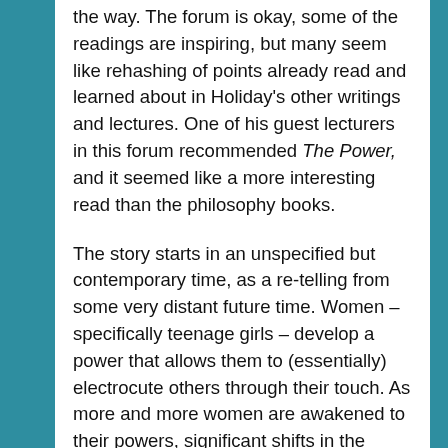the way. The forum is okay, some of the readings are inspiring, but many seem like rehashing of points already read and learned about in Holiday's other writings and lectures. One of his guest lecturers in this forum recommended The Power, and it seemed like a more interesting read than the philosophy books.
The story starts in an unspecified but contemporary time, as a re-telling from some very distant future time. Women – specifically teenage girls – develop a power that allows them to (essentially) electrocute others through their touch. As more and more women are awakened to their powers, significant shifts in the social structures of the world start to happen and in a fairly short time (barely 10 years), there is a complete collapse of society and possibly a nuclear winter-type cataclysm. The entire story